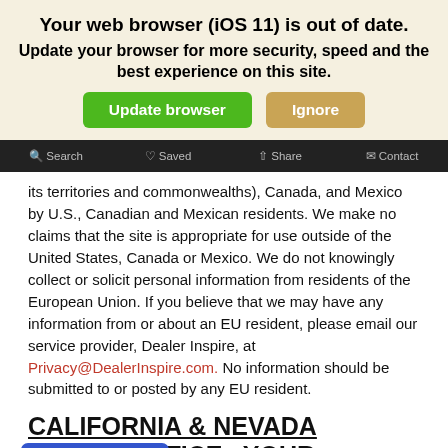Your web browser (iOS 11) is out of date. Update your browser for more security, speed and the best experience on this site.
[Figure (screenshot): Two buttons: green 'Update browser' and tan 'Ignore']
Search   Saved   Share   Contact
its territories and commonwealths), Canada, and Mexico by U.S., Canadian and Mexican residents. We make no claims that the site is appropriate for use outside of the United States, Canada or Mexico. We do not knowingly collect or solicit personal information from residents of the European Union. If you believe that we may have any information from or about an EU resident, please email our service provider, Dealer Inspire, at Privacy@DealerInspire.com. No information should be submitted to or posted by any EU resident.
CALIFORNIA & NEVADA NOTICE– YOUR CALIFORNIA PRIVACY RIGHTS:
If you are a California or Nevada resident, state law may provide